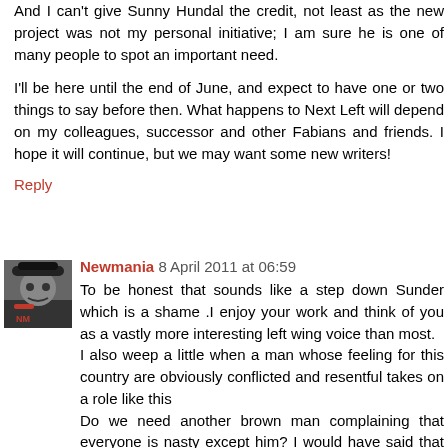And I can't give Sunny Hundal the credit, not least as the new project was not my personal initiative; I am sure he is one of many people to spot an important need.
I'll be here until the end of June, and expect to have one or two things to say before then. What happens to Next Left will depend on my colleagues, successor and other Fabians and friends. I hope it will continue, but we may want some new writers!
Reply
Newmania 8 April 2011 at 06:59
To be honest that sounds like a step down Sunder which is a shame .I enjoy your work and think of you as a vastly more interesting left wing voice than most.
I also weep a little when a man whose feeling for this country are obviously conflicted and resentful takes on a role like this
Do we need another brown man complaining that everyone is nasty except him? I would have said that supplies remained buoyant.